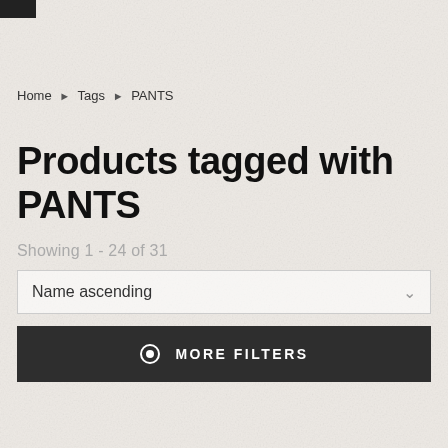[logo]
Home ▶ Tags ▶ PANTS
Products tagged with PANTS
Showing 1 - 24 of 31
Name ascending
MORE FILTERS